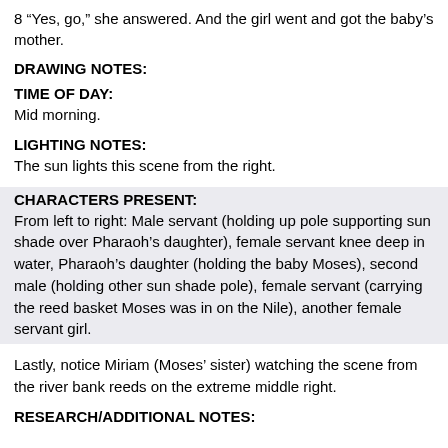8 “Yes, go,” she answered. And the girl went and got the baby’s mother.
DRAWING NOTES:
TIME OF DAY:
Mid morning.
LIGHTING NOTES:
The sun lights this scene from the right.
CHARACTERS PRESENT:
From left to right: Male servant (holding up pole supporting sun shade over Pharaoh’s daughter), female servant knee deep in water, Pharaoh’s daughter (holding the baby Moses), second male (holding other sun shade pole), female servant (carrying the reed basket Moses was in on the Nile), another female servant girl.
Lastly, notice Miriam (Moses’ sister) watching the scene from the river bank reeds on the extreme middle right.
RESEARCH/ADDITIONAL NOTES: